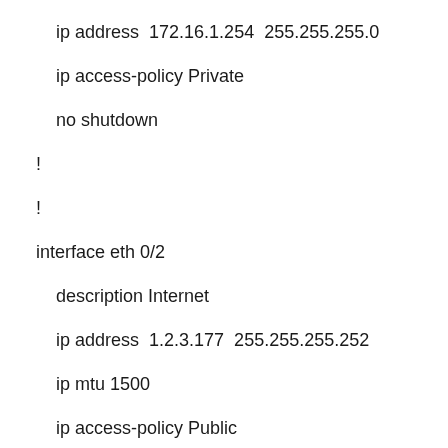ip address  172.16.1.254  255.255.255.0
ip access-policy Private
no shutdown
!
!
interface eth 0/2
description Internet
ip address  1.2.3.177  255.255.255.252
ip mtu 1500
ip access-policy Public
crypto map VPN
no rtp quality-monitoring